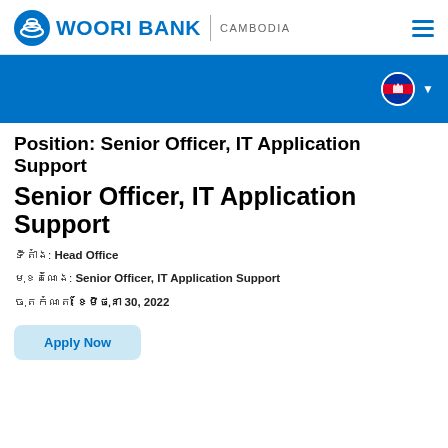WOORI BANK | CAMBODIA
Position: Senior Officer, IT Application Support
Senior Officer, IT Application Support
ទីតាំង: Head Office
មុខតំណែង: Senior Officer, IT Application Support
ចុតកំណត់: ខែមិថុនា 30, 2022
Apply Now